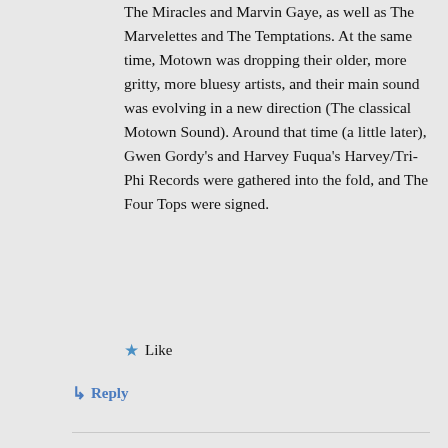The Miracles and Marvin Gaye, as well as The Marvelettes and The Temptations. At the same time, Motown was dropping their older, more gritty, more bluesy artists, and their main sound was evolving in a new direction (The classical Motown Sound). Around that time (a little later), Gwen Gordy's and Harvey Fuqua's Harvey/Tri-Phi Records were gathered into the fold, and The Four Tops were signed.
Like
Reply